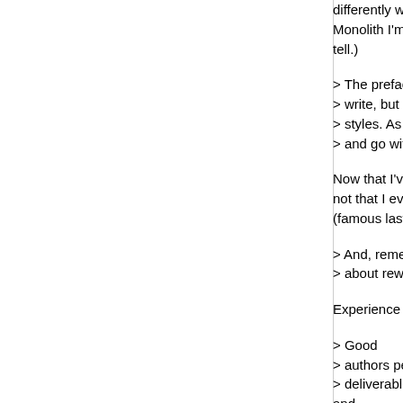differently wouldn't result in even bigger books. (With Monolith I'm determined to be <350 pages; time will tell.)
> The preface is certainly not the first thing I would > write, but I do know that different authors have different > styles. As an author, you grab on to anything that works > and go with it.
Now that I've done it, I'm glad I have. But next time - not that I ever want to write another "deep" book (famous last words?) - I will do it quite differently.
> And, remember: good writing is very anti-Lean. It all > about rework — Craft of Revision and all of that.
Experience painfully attests. :-)
> Good > authors pen a discovery draft before writing the > deliverable. (I used to teach English composition and